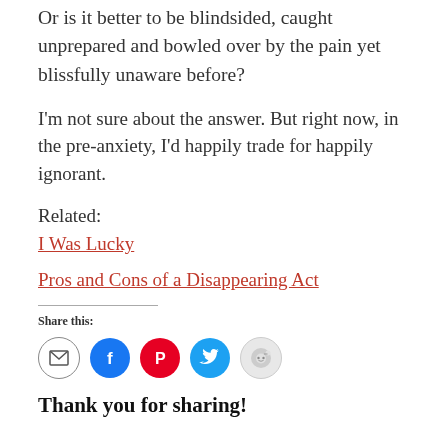Or is it better to be blindsided, caught unprepared and bowled over by the pain yet blissfully unaware before?
I'm not sure about the answer. But right now, in the pre-anxiety, I'd happily trade for happily ignorant.
Related:
I Was Lucky
Pros and Cons of a Disappearing Act
Share this:
Thank you for sharing!